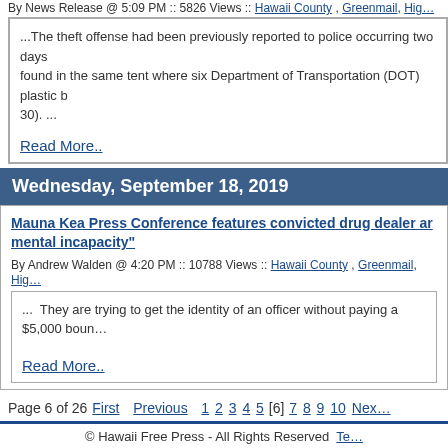By News Release @ 5:09 PM :: 5826 Views :: Hawaii County , Greenmail, High…
...The theft offense had been previously reported to police occurring two days... found in the same tent where six Department of Transportation (DOT) plastic b... 30). ...
Read More..
Wednesday, September 18, 2019
Mauna Kea Press Conference features convicted drug dealer ar mental incapacity"
By Andrew Walden @ 4:20 PM :: 10788 Views :: Hawaii County , Greenmail, Hig…
... They are trying to get the identity of an officer without paying a $5,000 boun…
Read More..
Page 6 of 26 First Previous 1 2 3 4 5 [6] 7 8 9 10 Nex…
© Hawaii Free Press - All Rights Reserved Te…